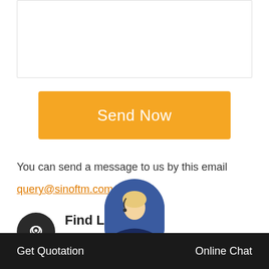[Figure (other): Text input form box with border]
Send Now
You can send a message to us by this email
query@sinoftm.com
Find Location
High-Tech Industrial Development Zone of Zhengzhou City, China
Chat Online
Get Quotation   Online Chat